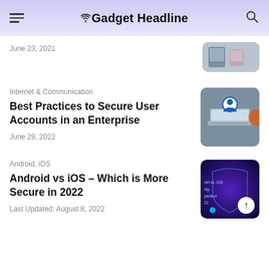Gadget Headline
June 23, 2021
Internet & Communication
Best Practices to Secure User Accounts in an Enterprise
June 29, 2022
Android, iOS
Android vs iOS – Which is More Secure in 2022
Last Updated: August 8, 2022